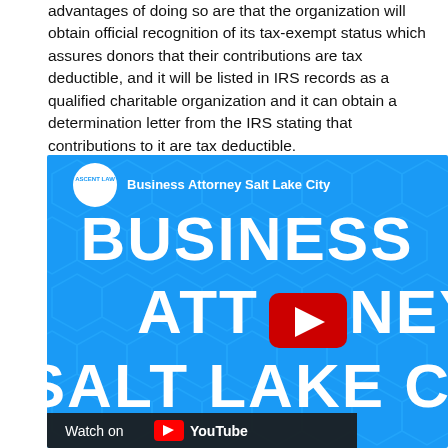advantages of doing so are that the organization will obtain official recognition of its tax-exempt status which assures donors that their contributions are tax deductible, and it will be listed in IRS records as a qualified charitable organization and it can obtain a determination letter from the IRS stating that contributions to it are tax deductible.
[Figure (screenshot): YouTube video thumbnail for 'Business Attorney Salt Lake City' by Ascent Law, showing large white bold text on a blue hexagonal background: BUSINESS ATTORNEY SALT LAKE CITY, with a YouTube play button in the center, and a 'Watch on YouTube' bar at the bottom.]